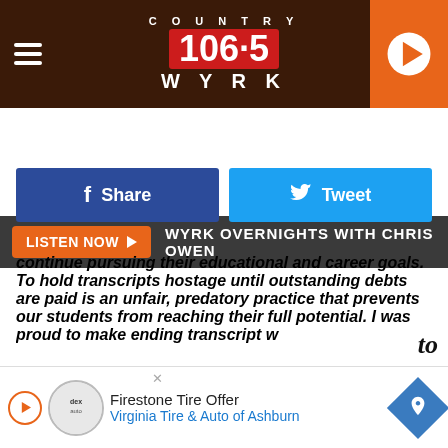[Figure (logo): Country 106.5 WYRK radio station logo with hamburger menu on left and play button on right]
LISTEN NOW ▶   WYRK OVERNIGHTS WITH CHRIS OWEN
[Figure (screenshot): Facebook Share button and Twitter Tweet button]
continue pursuing their educational and career goals. To hold transcripts hostage until outstanding debts are paid is an unfair, predatory practice that prevents our students from reaching their full potential. I was proud to make ending transcript w...to
[Figure (other): Firestone Tire Offer advertisement - Virginia Tire & Auto of Ashburn]